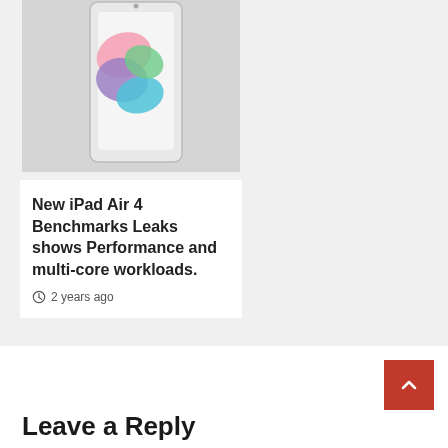[Figure (photo): iPad Air 4 device shown from the front, with colorful Apple logo screen, silver color, on a light gray background]
Leakes
News
New iPad Air 4 Benchmarks Leaks shows Performance and multi-core workloads.
2 years ago
Leave a Reply